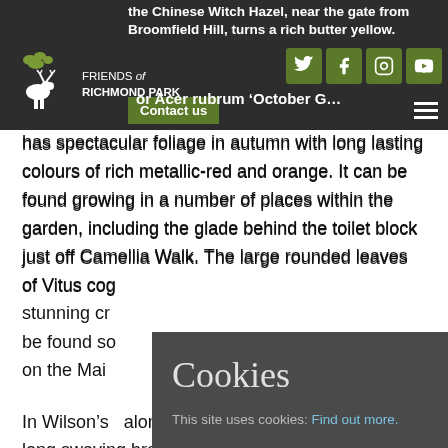Friends of Richmond Park navigation bar with logo, social icons (Twitter, Facebook, Instagram, YouTube), Contact us button, and menu
the Chinese Witch Hazel, near the gate from Broomfield Hill, turns a rich butter yellow.
or Acer rubrum ‘October G… has spectacular foliage in autumn with long lasting colours of rich metallic-red and orange. It can be found growing in a number of places within the garden, including the glade behind the toilet block just off Camellia Walk. The large rounded leaves of Vitus cog… stunning cr… be found so… on the Mai…
In Wilson’s… alongside t… long swaying branches are laden with red-currant like fruits.
[Figure (screenshot): Cookie consent popup overlay with title 'Cookies', text 'This site uses cookies: Find out more.' and an 'Okay, thanks' button]